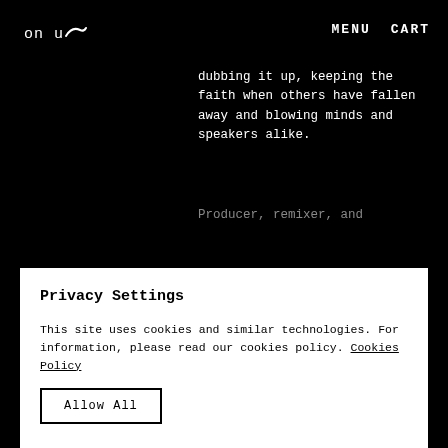on u~ [logo]    MENU    CART
dubbing it up, keeping the faith when others have fallen away and blowing minds and speakers alike.
Producer, remixer, and
Read More
Privacy Settings
This site uses cookies and similar technologies. For information, please read our cookies policy. Cookies Policy
Allow All
Manage Consent Preferences